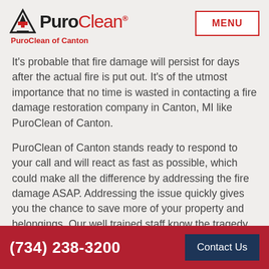PuroClean - PuroClean of Canton
It’s probable that fire damage will persist for days after the actual fire is put out. It’s of the utmost importance that no time is wasted in contacting a fire damage restoration company in Canton, MI like PuroClean of Canton.
PuroClean of Canton stands ready to respond to your call and will react as fast as possible, which could make all the difference by addressing the fire damage ASAP. Addressing the issue quickly gives you the chance to save more of your property and belongings. Our well trained staff know the tragedy you are experiencing. PuroClean of Canton will
(734) 238-3200  Contact Us